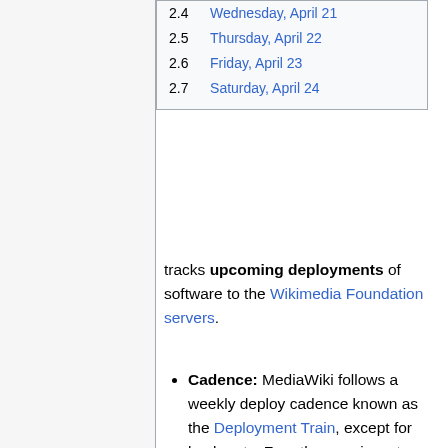| 2.4 | Wednesday, April 21 |
| 2.5 | Thursday, April 22 |
| 2.6 | Friday, April 23 |
| 2.7 | Saturday, April 24 |
tracks upcoming deployments of software to the Wikimedia Foundation servers.
Cadence: MediaWiki follows a weekly deploy cadence known as the Deployment Train, except for backports. For other services, teams decide their own schedule.
Schedule: Generally use Backport windows instead of scheduling new windows. But, long running tasks and others things covered by Inclusion criteria do require their own windows. When creating windows, schedule more time than you think